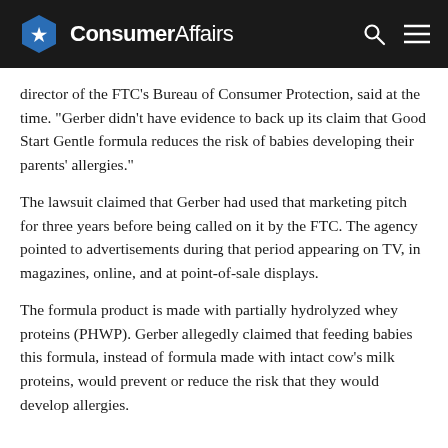ConsumerAffairs
director of the FTC's Bureau of Consumer Protection, said at the time. “Gerber didn’t have evidence to back up its claim that Good Start Gentle formula reduces the risk of babies developing their parents’ allergies.”
The lawsuit claimed that Gerber had used that marketing pitch for three years before being called on it by the FTC. The agency pointed to advertisements during that period appearing on TV, in magazines, online, and at point-of-sale displays.
The formula product is made with partially hydrolyzed whey proteins (PHWP). Gerber allegedly claimed that feeding babies this formula, instead of formula made with intact cow’s milk proteins, would prevent or reduce the risk that they would develop allergies.